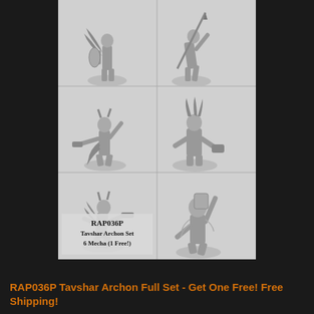[Figure (photo): A grid of 6 miniature sci-fi/fantasy armored mecha figures (Tavshar Archon Set), shown in black and white photography, arranged in a 2x3 grid. Each figure is a detailed metal miniature in various action poses with weapons. The lower-left cell contains the product label text.]
RAP036P
Tavshar Archon Set
6 Mecha (1 Free!)
RAP036P Tavshar Archon Full Set - Get One Free! Free Shipping!